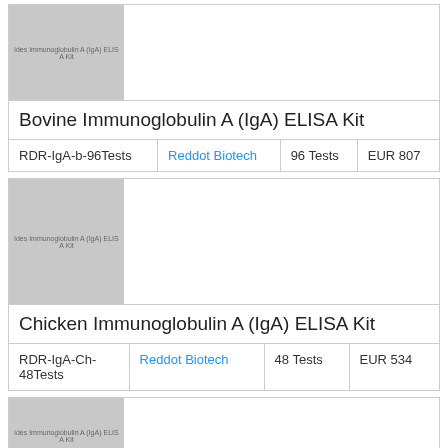[Figure (photo): Product image placeholder for Bovine Immunoglobulin A (IgA) ELISA Kit showing gray placeholder with watermark text]
Bovine Immunoglobulin A (IgA) ELISA Kit
|  |  |  |  |
| --- | --- | --- | --- |
| RDR-IgA-b-96Tests | Reddot Biotech | 96 Tests | EUR 807 |
[Figure (photo): Product image placeholder for Chicken Immunoglobulin A (IgA) ELISA Kit showing gray placeholder with watermark text]
Chicken Immunoglobulin A (IgA) ELISA Kit
|  |  |  |  |
| --- | --- | --- | --- |
| RDR-IgA-Ch-48Tests | Reddot Biotech | 48 Tests | EUR 534 |
[Figure (photo): Third product image placeholder showing gray placeholder with watermark text]